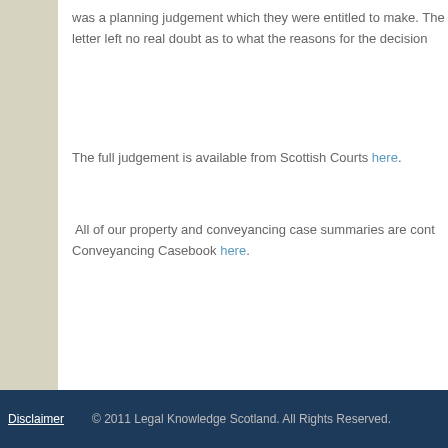was a planning judgement which they were entitled to make. The letter left no real doubt as to what the reasons for the decision were.
The full judgement is available from Scottish Courts here.
All of our property and conveyancing case summaries are contained in the Conveyancing Casebook here.
Tags: Planning, property, renewables
Comments are closed.
Disclaimer   © 2011 Legal Knowledge Scotland. All Rights Reserved.